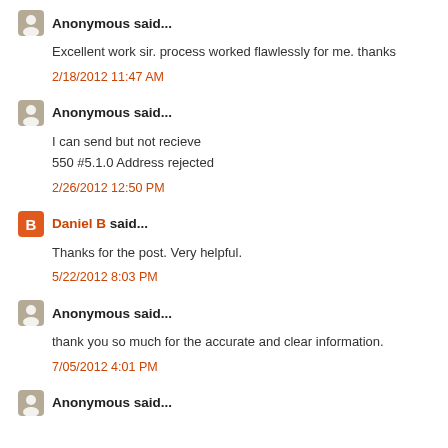Anonymous said...
Excellent work sir. process worked flawlessly for me. thanks
2/18/2012 11:47 AM
Anonymous said...
I can send but not recieve
550 #5.1.0 Address rejected
2/26/2012 12:50 PM
Daniel B said...
Thanks for the post. Very helpful.
5/22/2012 8:03 PM
Anonymous said...
thank you so much for the accurate and clear information.
7/05/2012 4:01 PM
Anonymous said...